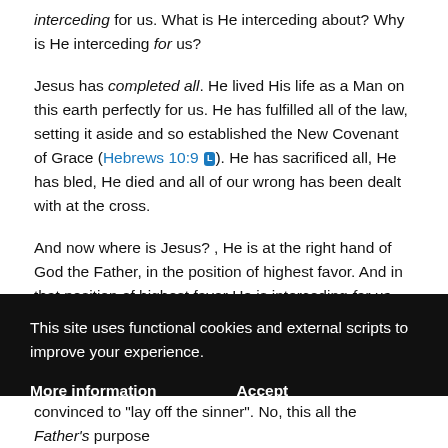interceding for us. What is He interceding about? Why is He interceding for us?
Jesus has completed all. He lived His life as a Man on this earth perfectly for us. He has fulfilled all of the law, setting it aside and so established the New Covenant of Grace (Hebrews 10:9 [L]). He has sacrificed all, He has bled, He died and all of our wrong has been dealt with at the cross.
And now where is Jesus? , He is at the right hand of God the Father, in the position of highest favor. And in that position of highest favor He is interceding for us. There's a difference
This site uses functional cookies and external scripts to improve your experience.
More information   Accept
convinced to "lay off the sinner". No, this all the Father's purpose